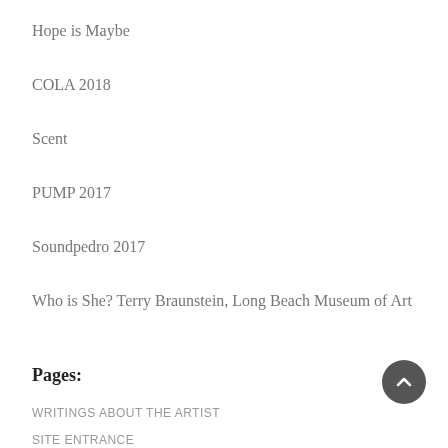Hope is Maybe
COLA 2018
Scent
PUMP 2017
Soundpedro 2017
Who is She? Terry Braunstein, Long Beach Museum of Art
Pages:
WRITINGS ABOUT THE ARTIST
SITE ENTRANCE